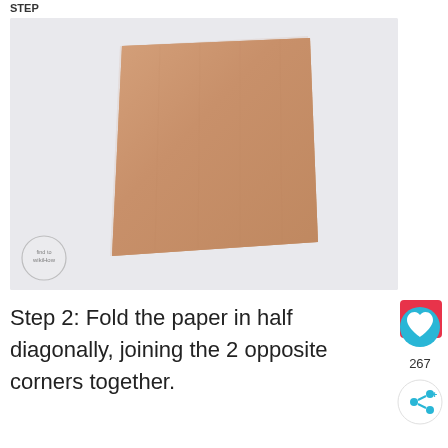STEP
[Figure (photo): A flat square sheet of brown kraft paper lying on a light grey/white surface, photographed from above. A small circular watermark logo is visible in the bottom-left corner of the photo.]
Step 2: Fold the paper in half diagonally, joining the 2 opposite corners together.